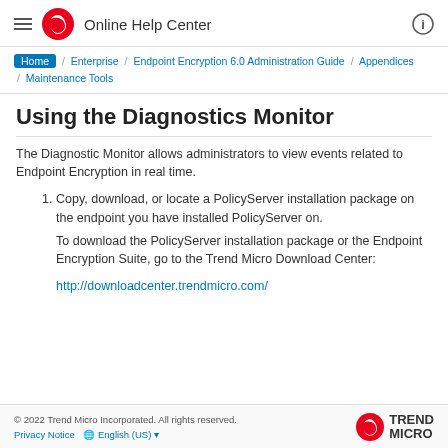Online Help Center
Home / Enterprise / Endpoint Encryption 6.0 Administration Guide / Appendices / Maintenance Tools
Using the Diagnostics Monitor
The Diagnostic Monitor allows administrators to view events related to Endpoint Encryption in real time.
Copy, download, or locate a PolicyServer installation package on the endpoint you have installed PolicyServer on.
To download the PolicyServer installation package or the Endpoint Encryption Suite, go to the Trend Micro Download Center:
http://downloadcenter.trendmicro.com/
© 2022 Trend Micro Incorporated. All rights reserved.
Privacy Notice  English (US)